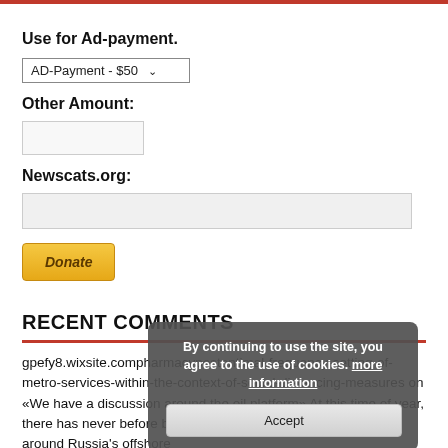Use for Ad-payment.
[Figure (screenshot): Dropdown selector showing 'AD-Payment - $50' with dropdown arrow]
Other Amount:
[Figure (screenshot): Small text input field for other amount]
Newscats.org:
[Figure (screenshot): Wide text input field for Newscats.org]
[Figure (screenshot): Donate button styled in gold/yellow with italic bold text]
RECENT COMMENTS
gpefy8.wixsite.compharmacypostontimal-frequency-setting-of-metro-services-within-the-context-of-social-distancing-measures on «We have a discussion around the oil platform» At this time of year, there has never before been such a complicated ice condition around Russia's offshore
[Figure (screenshot): Cookie consent overlay popup with text 'By continuing to use the site, you agree to the use of cookies. more information' and an Accept button]